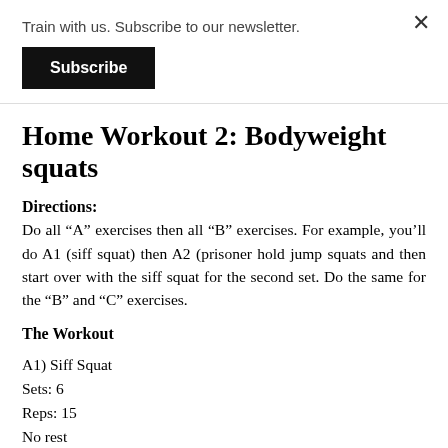Train with us. Subscribe to our newsletter.
Subscribe
Home Workout 2: Bodyweight squats
Directions:
Do all “A” exercises then all “B” exercises. For example, you’ll do A1 (siff squat) then A2 (prisoner hold jump squats and then start over with the siff squat for the second set. Do the same for the “B” and “C” exercises.
The Workout
A1) Siff Squat
Sets: 6
Reps: 15
No rest
Stand shoulder-width apart with your feet slightly